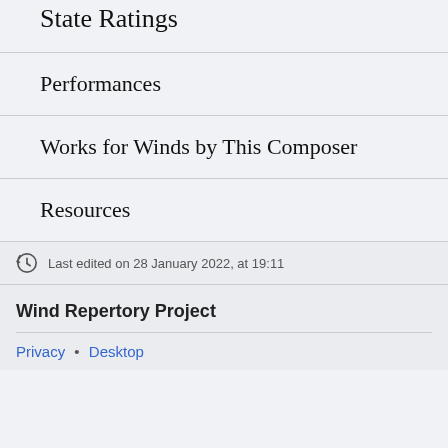State Ratings
Performances
Works for Winds by This Composer
Resources
Last edited on 28 January 2022, at 19:11
Wind Repertory Project
Privacy • Desktop